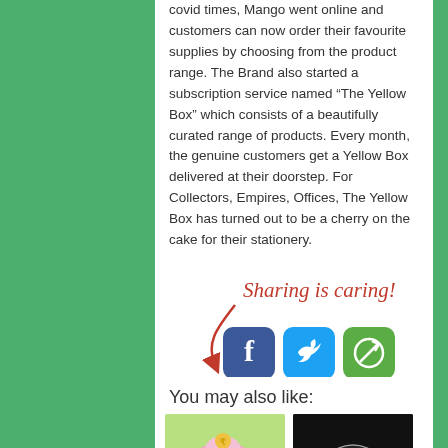covid times, Mango went online and customers can now order their favourite supplies by choosing from the product range. The Brand also started a subscription service named “The Yellow Box” which consists of a beautifully curated range of products. Every month, the genuine customers get a Yellow Box delivered at their doorstep. For Collectors, Empires, Offices, The Yellow Box has turned out to be a cherry on the cake for their stationery.
[Figure (infographic): Sharing is caring! text in red cursive with a red curved arrow pointing to Facebook, Twitter, and a share social media icon buttons]
You may also like:
[Figure (illustration): Pink cartoon piggy bank with PPF label and Indian rupee coin]
[Figure (photo): Silhouette of a person holding an umbrella against a dark background]